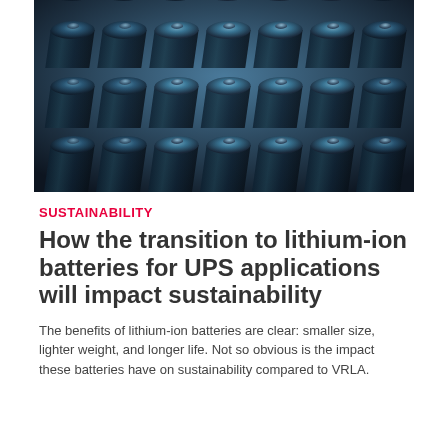[Figure (photo): Close-up photo of many cylindrical lithium-ion batteries arranged in rows, viewed from above at an angle, with a dark blue metallic color and silver tops.]
SUSTAINABILITY
How the transition to lithium-ion batteries for UPS applications will impact sustainability
The benefits of lithium-ion batteries are clear: smaller size, lighter weight, and longer life. Not so obvious is the impact these batteries have on sustainability compared to VRLA.